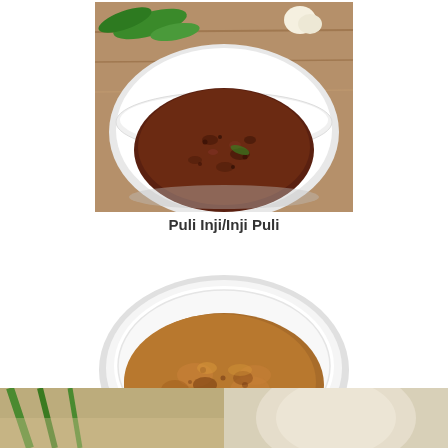[Figure (photo): Photo of Puli Inji/Inji Puli - a dark brown tamarind ginger chutney in a white bowl, with green chilies and garlic visible in background on a wooden surface]
Puli Inji/Inji Puli
[Figure (photo): Photo of Sweet Gothambu Ada/Sweet Wheat Ada - a round golden-brown wheat pancake/crepe on a white plate]
Sweet Gothambu Ada/Sweet Wheat Ada
[Figure (photo): Two partially visible food photos at the bottom of the page]